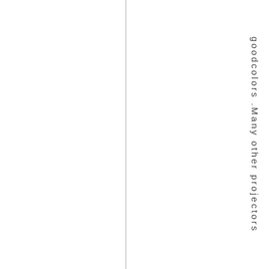goodcolors .Many other projectors